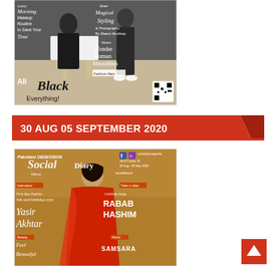[Figure (photo): Magazine cover showing two people (a man and woman) dressed in black outfits. Text reads: 'Morning Makeup Routine to Save Your Time', 'Magical Styling & Photography By Maera Mushtaq', 'All Black Everything!', 'Wonder Woman Smoothies', with QR code.]
30 AUG 05 SEPTEMBER 2020
[Figure (photo): Social Diary magazine cover featuring a woman in red traditional Pakistani attire. Text reads: 'Social Diary', 'Interview: Yasir Akhtar - THE UNSTOPPABLE ICON', 'Celebrity Song: RABAB HASHIM', 'Beauty: Feel Beautiful', 'About: SAMSARA'. Vol 07 Issue 15, 30 Aug - 05 Sep 2020.]